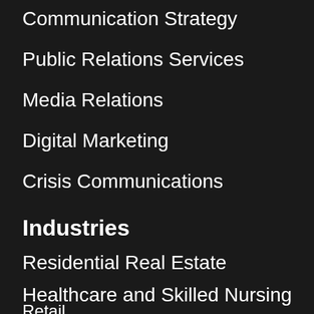Communication Strategy
Public Relations Services
Media Relations
Digital Marketing
Crisis Communications
Industries
Residential Real Estate
Healthcare and Skilled Nursing
Retail